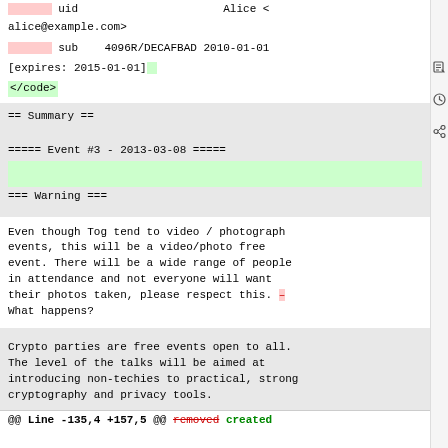[deleted] uid   Alice <alice@example.com>
[deleted] sub   4096R/DECAFBAD 2010-01-01 [expires: 2015-01-01]
</code> [added]
== Summary ==
===== Event #3 - 2013-03-08 =====
=== Warning ===
Even though Tog tend to video / photograph events, this will be a video/photo free event. There will be a wide range of people in attendance and not everyone will want their photos taken, please respect this. — What happens?
Crypto parties are free events open to all. The level of the talks will be aimed at introducing non-techies to practical, strong cryptography and privacy tools.
@@ Line -135,4 +157,5 @@ removed created